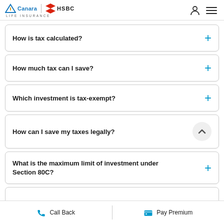Canara HSBC Life Insurance
How is tax calculated?
How much tax can I save?
Which investment is tax-exempt?
How can I save my taxes legally?
What is the maximum limit of investment under Section 80C?
Call Back   Pay Premium